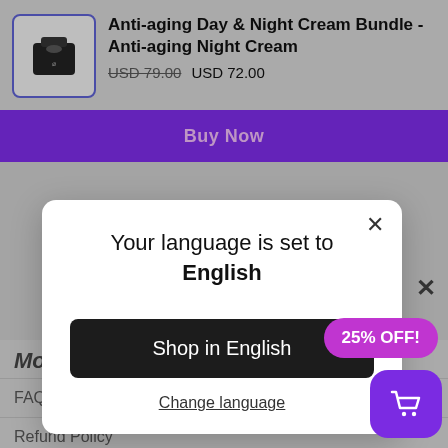[Figure (screenshot): Product image thumbnail of Anti-aging Night Cream jar in a bordered box]
Anti-aging Day & Night Cream Bundle - Anti-aging Night Cream
USD 79.00  USD 72.00
Buy Now
Your language is set to English
Shop in English
Change language
More Info
FAQs
Refund Policy
Shipping Policy
25% OFF!